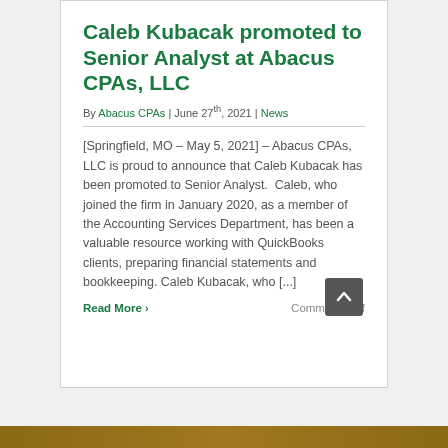Caleb Kubacak promoted to Senior Analyst at Abacus CPAs, LLC
By Abacus CPAs | June 27th, 2021 | News
[Springfield, MO – May 5, 2021] – Abacus CPAs, LLC is proud to announce that Caleb Kubacak has been promoted to Senior Analyst. Caleb, who joined the firm in January 2020, as a member of the Accounting Services Department, has been a valuable resource working with QuickBooks clients, preparing financial statements and bookkeeping. Caleb Kubacak, who [...]
Read More > Comments Off